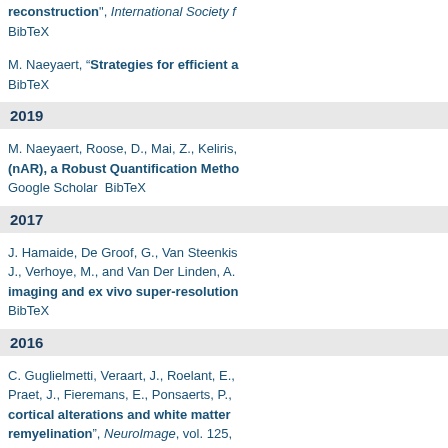reconstruction", International Society f… BibTeX
M. Naeyaert, "Strategies for efficient a… BibTeX
2019
M. Naeyaert, Roose, D., Mai, Z., Keliris… (nAR), a Robust Quantification Metho… Google Scholar  BibTeX
2017
J. Hamaide, De Groof, G., Van Steenkis… J., Verhoye, M., and Van Der Linden, A… imaging and ex vivo super-resolution… BibTeX
2016
C. Guglielmetti, Veraart, J., Roelant, E.,… Praet, J., Fieremans, E., Ponsaerts, P.,… cortical alterations and white matter … remyelination", NeuroImage, vol. 125,…
2012